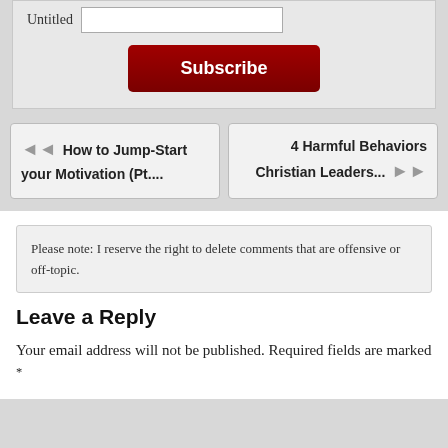Untitled [input field]
Subscribe [button]
← How to Jump-Start your Motivation (Pt....
4 Harmful Behaviors Christian Leaders... →
Please note: I reserve the right to delete comments that are offensive or off-topic.
Leave a Reply
Your email address will not be published. Required fields are marked *